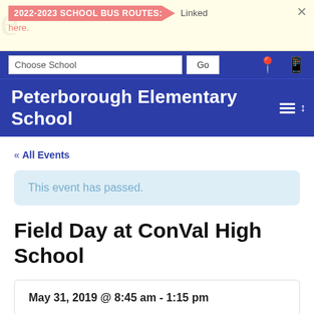2022-2023 SCHOOL BUS ROUTES: Linked here.
Choose School Go
Peterborough Elementary School
« All Events
This event has passed.
Field Day at ConVal High School
May 31, 2019 @ 8:45 am - 1:15 pm